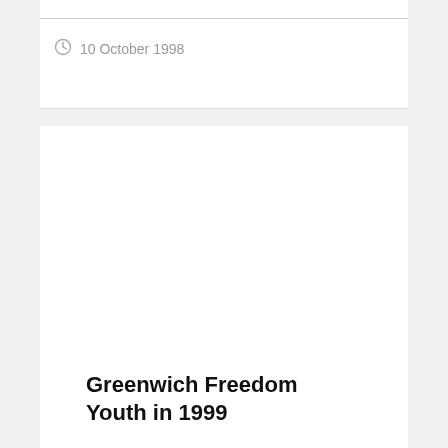10 October 1998
Greenwich Freedom Youth in 1999